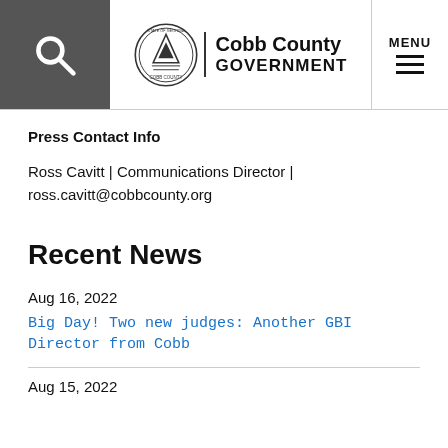Cobb County Government — Search | Menu
Press Contact Info
Ross Cavitt | Communications Director | ross.cavitt@cobbcounty.org
Recent News
Aug 16, 2022
Big Day! Two new judges: Another GBI Director from Cobb
Aug 15, 2022